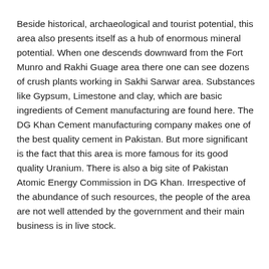Beside historical, archaeological and tourist potential, this area also presents itself as a hub of enormous mineral potential. When one descends downward from the Fort Munro and Rakhi Guage area there one can see dozens of crush plants working in Sakhi Sarwar area. Substances like Gypsum, Limestone and clay, which are basic ingredients of Cement manufacturing are found here. The DG Khan Cement manufacturing company makes one of the best quality cement in Pakistan. But more significant is the fact that this area is more famous for its good quality Uranium. There is also a big site of Pakistan Atomic Energy Commission in DG Khan. Irrespective of the abundance of such resources, the people of the area are not well attended by the government and their main business is in live stock.